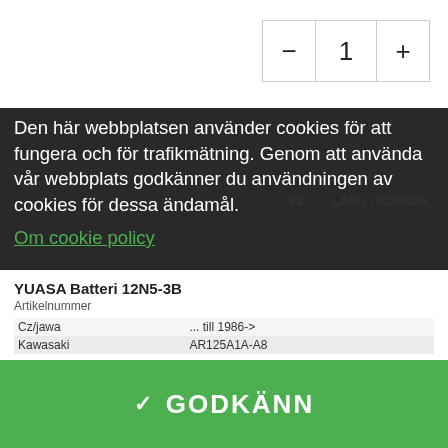[Figure (screenshot): Quantity selector with minus button, value 1, and plus button in a bordered box]
Den här webbplatsen använder cookies för att fungera och för trafikmätning. Genom att använda vår webbplats godkänner du användningen av cookies för dessa ändamål.
Om cookie policy
⚙ Cookie-inställningar
NEJ TAK
YUASA Batteri 12N5-3B
Artikelnummer
|  |  |
| --- | --- |
| Cz/jawa | ... till 1986-> |
| Kawasaki | AR125A1A-A8 |
✓ GODKÄNN